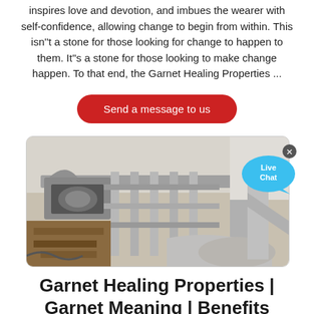inspires love and devotion, and imbues the wearer with self-confidence, allowing change to begin from within. This isn''t a stone for those looking for change to happen to them. It''s a stone for those looking to make change happen. To that end, the Garnet Healing Properties ...
Send a message to us
[Figure (photo): Photo of industrial machinery or equipment components, showing metal frames, rollers, and mechanical parts viewed from below or at an angle.]
Garnet Healing Properties | Garnet Meaning | Benefits